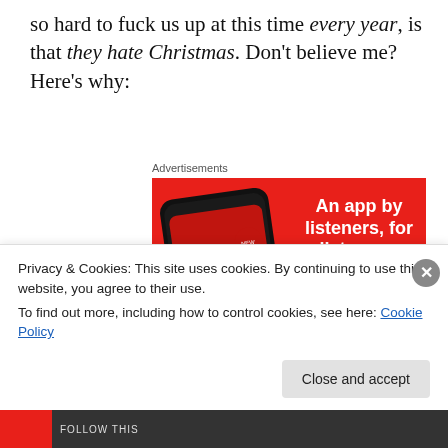so hard to fuck us up at this time every year, is that they hate Christmas. Don't believe me? Here's why:
Advertisements
[Figure (screenshot): Advertisement for a podcast app showing a smartphone with 'Dis-tri-buted' podcast on screen, red background, text: 'An app by listeners, for listeners.' with a 'Download now' button.]
Privacy & Cookies: This site uses cookies. By continuing to use this website, you agree to their use.
To find out more, including how to control cookies, see here: Cookie Policy